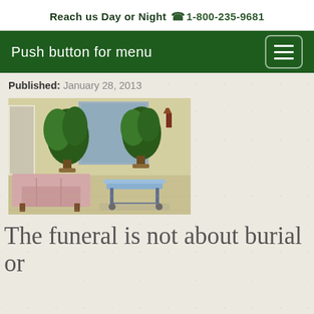Reach us Day or Night 1-800-235-9681
Push button for menu
Published: January 28, 2013
[Figure (photo): Interior of a funeral home showing a pink sofa, two large potted green plants, a mirror, and a gurney/casket cart in the background on a light-colored floor]
The funeral is not about burial or